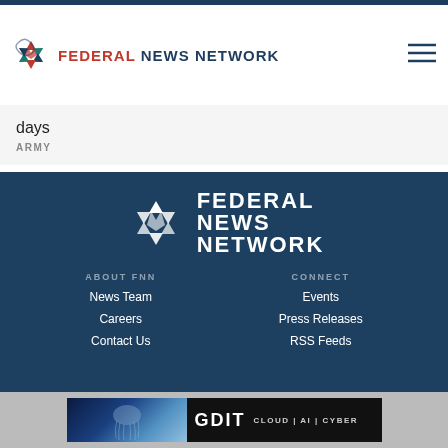FEDERAL NEWS NETWORK
days
ARMY
[Figure (logo): Federal News Network large white logo on dark blue background, with stylized arrow/star icon and stacked text FEDERAL NEWS NETWORK]
ABOUT FNN
News Team
Careers
Contact Us
CONNECT
Events
Press Releases
RSS Feeds
[Figure (screenshot): GDIT advertisement banner: dark background with jellyfish image on left and text CLOUD | AI | CYBER on right, with X close button]